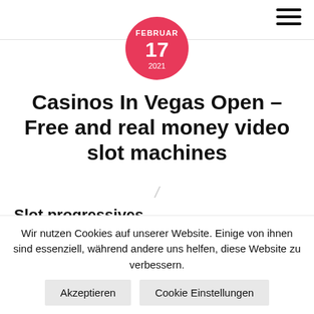FEBRUAR 17 2021
Casinos In Vegas Open – Free and real money video slot machines
Slot progressives
His winning run had been picked up by the casino's watchful overhead cameras and drawn the atten...
Wir nutzen Cookies auf unserer Website. Einige von ihnen sind essenziell, während andere uns helfen, diese Website zu verbessern.
Akzeptieren | Cookie Einstellungen